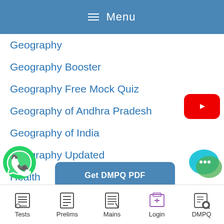≡ Menu
Geography
Geography Booster
Geography Free Mock Quiz
Geography of Andhra Pradesh
Geography of India
Geography Updated
Health
Health Care
HISTORY
History
story
[Figure (logo): YouTube play button icon - red rounded rectangle with white triangle]
[Figure (illustration): Get DMPQ PDF button - blue rounded rectangle]
[Figure (logo): WhatsApp green circle icon with phone]
[Figure (illustration): Chat bubble icons - teal and green overlapping speech bubbles]
Tests  Prelims  Mains  Login  DMPQ